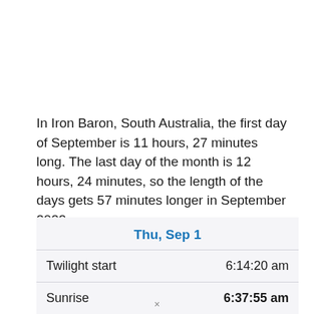In Iron Baron, South Australia, the first day of September is 11 hours, 27 minutes long. The last day of the month is 12 hours, 24 minutes, so the length of the days gets 57 minutes longer in September 2022.
| Thu, Sep 1 |  |
| --- | --- |
| Twilight start | 6:14:20 am |
| Sunrise | 6:37:55 am |